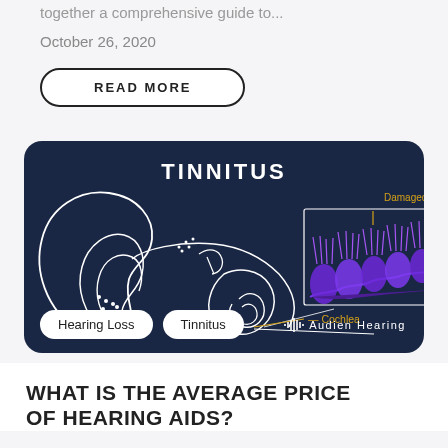together a comprehensive guide to...
October 26, 2020
READ MORE
[Figure (illustration): Dark navy card with white line drawing of a human ear anatomy showing the cochlea and damaged hairs inside cochlea labeled in gold/yellow text. Purple detailed cochlea illustration with magnified inset. Tags: Hearing Loss, Tinnitus. Audien Hearing brand. Title: TINNITUS.]
WHAT IS THE AVERAGE PRICE OF HEARING AIDS?